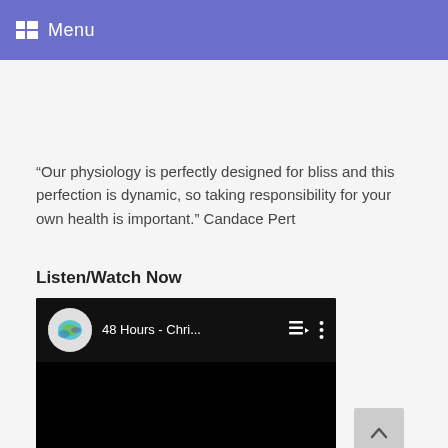Menu
“Our physiology is perfectly designed for bliss and this perfection is dynamic, so taking responsibility for your own health is important.” Candace Pert
Listen/Watch Now
[Figure (screenshot): YouTube-style video player showing '48 Hours - Chri...' with a circular thumbnail on the left, playlist icon, and vertical dots menu icon. Video content area is black.]